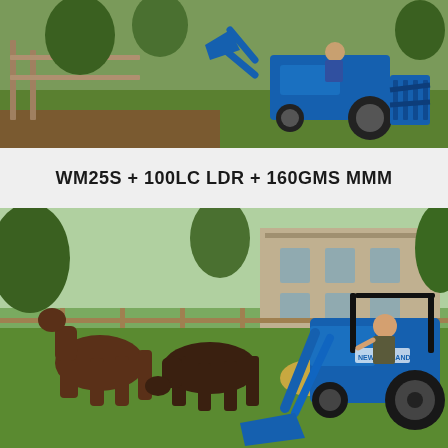[Figure (photo): Blue New Holland compact tractor with front loader and rear attachment working on a grass field near a wooden fence. Operator visible on tractor.]
WM25S + 100LC LDR + 160GMS MMM
[Figure (photo): Woman riding a blue New Holland compact tractor with front loader bucket in a farm setting with two brown horses grazing near hay bales, stone building in the background.]